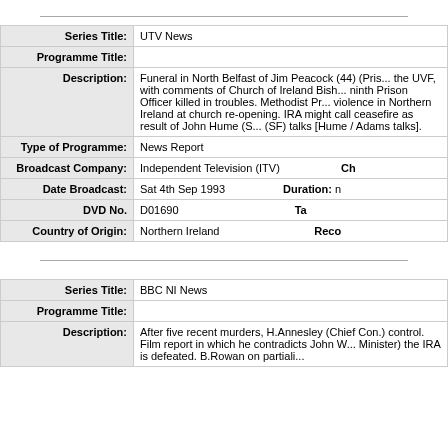| Field | Value |
| --- | --- |
| Series Title: | UTV News |
| Programme Title: |  |
| Description: | Funeral in North Belfast of Jim Peacock (44) (Pris... the UVF, with comments of Church of Ireland Bish... ninth Prison Officer killed in troubles. Methodist Pr... violence in Northern Ireland at church re-opening. IRA might call ceasefire as result of John Hume (S... (SF) talks [Hume / Adams talks]. |
| Type of Programme: | News Report |
| Broadcast Company: | Independent Television (ITV) |
| Date Broadcast: | Sat 4th Sep 1993 |
| DVD No. | D01690 |
| Country of Origin: | Northern Ireland |
| Field | Value |
| --- | --- |
| Series Title: | BBC NI News |
| Programme Title: |  |
| Description: | After five recent murders, H.Annesley (Chief Con.) control. Film report in which he contradicts John W... Minister) the IRA is defeated. B.Rowan on partiali... |